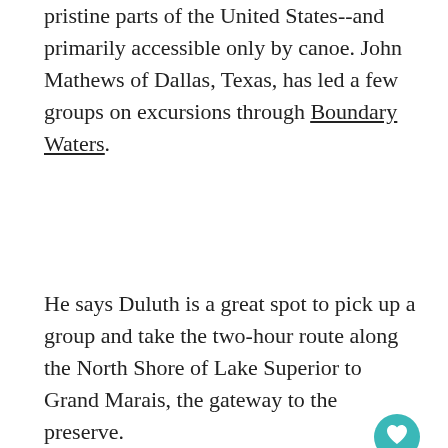pristine parts of the United States--and primarily accessible only by canoe. John Mathews of Dallas, Texas, has led a few groups on excursions through Boundary Waters.
He says Duluth is a great spot to pick up a group and take the two-hour route along the North Shore of Lake Superior to Grand Marais, the gateway to the preserve.
[Figure (photo): Image placeholder area (light gray background). Two circular buttons visible: a teal heart/favorite button and a light gray share button with a share icon.]